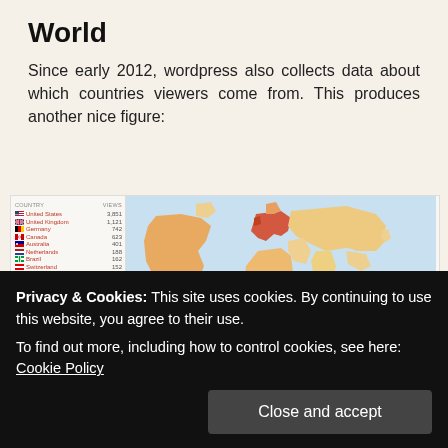World
Since early 2012, wordpress also collects data about which countries viewers come from. This produces another nice figure:
[Figure (map): World map showing viewer counts by country, with a country list on the left showing United States 3,851, United Kingdom 1,121, Germany 742, Canada 623, Australia 401, Netherlands 188, Brazil 162, Switzerland 152, Sweden 128, France 118, Philippines 93, Ukraine 88, Denmark 76, Austria 65, Finland 63, Singapore 67, Poland 68, Norway 60, Russian Federation 53, Portugal 52. Scale bar at bottom from 1 to 3,851.]
Privacy & Cookies: This site uses cookies. By continuing to use this website, you agree to their use.
To find out more, including how to control cookies, see here: Cookie Policy
Close and accept